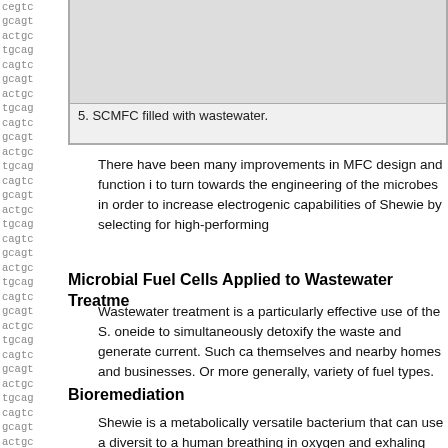[Figure (photo): SCMFC filled with wastewater — photograph mostly cut off at top, showing a device/vessel]
5. SCMFC filled with wastewater.
There have been many improvements in MFC design and function i to turn towards the engineering of the microbes in order to increase electrogenic capabilities of Shewie by selecting for high-performing
Microbial Fuel Cells Applied to Wastewater Treatme
Wastewater treatment is a particularly effective use of the S. oneide to simultaneously detoxify the waste and generate current. Such ca themselves and nearby homes and businesses. Or more generally, variety of fuel types.
Bioremediation
Shewie is a metabolically versatile bacterium that can use a diversit to a human breathing in oxygen and exhaling carbon dioxide, Shew altered state. For example, Shewanella can convert uranium dissolv uranium from spreading as the groundwater flows. This ability mak